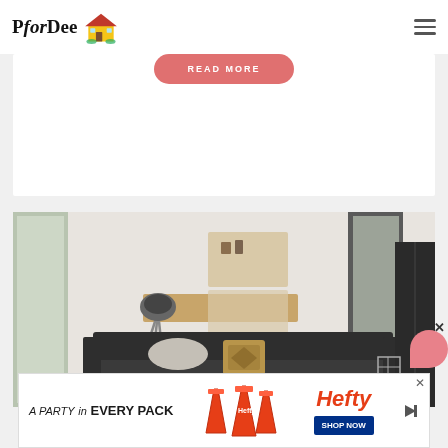PforDee [house logo] [hamburger menu]
READ MORE
[Figure (photo): Modern living room interior with dark gray sofa, decorative pillows, tripod floor lamp, wall-mounted wooden shelving unit, and large windows. Clean minimalist style with white walls.]
[Figure (infographic): Advertisement banner: 'A PARTY in EVERY PACK' with Hefty brand cups and 'SHOP NOW' button in blue]